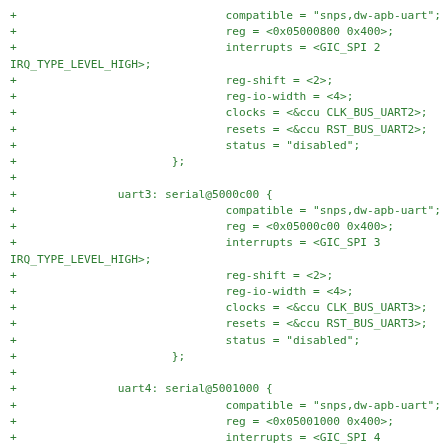Source code diff showing UART serial device tree entries for uart2, uart3, and uart4 nodes with compatible, reg, interrupts, reg-shift, reg-io-width, clocks, resets, and status properties.